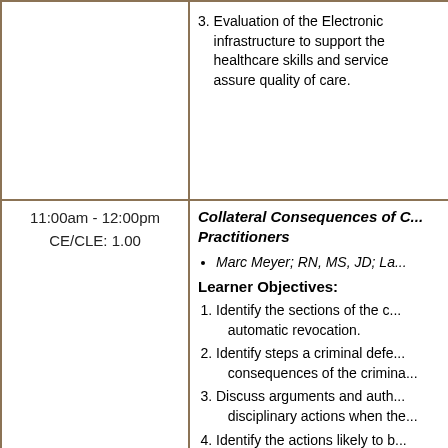3. Evaluation of the Electronic infrastructure to support the healthcare skills and service assure quality of care.
11:00am - 12:00pm
CE/CLE: 1.00
Collateral Consequences of C... Practitioners
Marc Meyer; RN, MS, JD; La...
Learner Objectives:
1. Identify the sections of the c... automatic revocation.
2. Identify steps a criminal defe... consequences of the crimina...
3. Discuss arguments and auth... disciplinary actions when the...
4. Identify the actions likely to b... Services OIG with regard to...
Monitoring Agreements